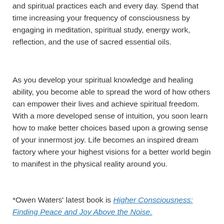and spiritual practices each and every day. Spend that time increasing your frequency of consciousness by engaging in meditation, spiritual study, energy work, reflection, and the use of sacred essential oils.
As you develop your spiritual knowledge and healing ability, you become able to spread the word of how others can empower their lives and achieve spiritual freedom. With a more developed sense of intuition, you soon learn how to make better choices based upon a growing sense of your innermost joy. Life becomes an inspired dream factory where your highest visions for a better world begin to manifest in the physical reality around you.
*Owen Waters' latest book is Higher Consciousness: Finding Peace and Joy Above the Noise.